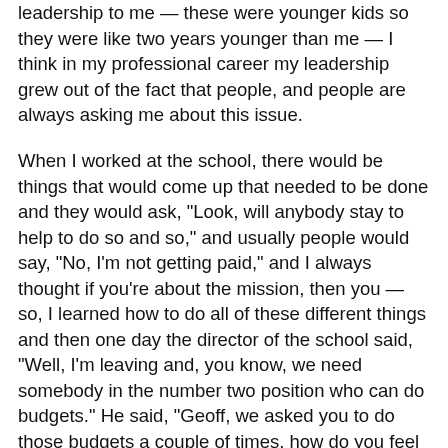leadership to me — these were younger kids so they were like two years younger than me — I think in my professional career my leadership grew out of the fact that people, and people are always asking me about this issue.
When I worked at the school, there would be things that would come up that needed to be done and they would ask, "Look, will anybody stay to help to do so and so," and usually people would say, "No, I'm not getting paid," and I always thought if you're about the mission, then you — so, I learned how to do all of these different things and then one day the director of the school said, "Well, I'm leaving and, you know, we need somebody in the number two position who can do budgets." He said, "Geoff, we asked you to do those budgets a couple of times, how do you feel — " So, the next thing I know, I was the number two and then the number one guy left and then I — this was now — I had to be all of twenty-seven, twenty-eight and they said, "Well, you know, do you have any interest in running the school?" Now, the truth of the matter, I was thrilled to be number two and